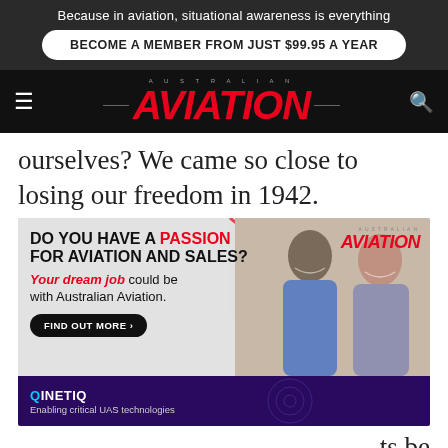Because in aviation, situational awareness is everything
BECOME A MEMBER FROM JUST $99.95 A YEAR
AUSTRALIAN AVIATION
ourselves? We came so close to losing our freedom in 1942.
[Figure (infographic): Advertisement for Australian Aviation job: 'DO YOU HAVE A PASSION FOR AVIATION AND SALES? Your dream job could be with Australian Aviation. FIND OUT MORE' with photo of two people and Australian Aviation logo. Below: QinetiQ - Enabling critical UAS technologies banner.]
ts be